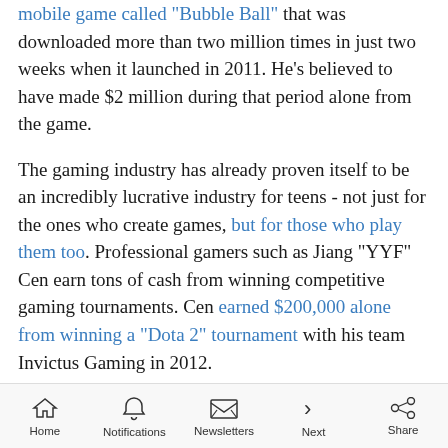mobile game called "Bubble Ball" that was downloaded more than two million times in just two weeks when it launched in 2011. He's believed to have made $2 million during that period alone from the game.
The gaming industry has already proven itself to be an incredibly lucrative industry for teens - not just for the ones who create games, but for those who play them too. Professional gamers such as Jiang "YYF" Cen earn tons of cash from winning competitive gaming tournaments. Cen earned $200,000 alone from winning a "Dota 2" tournament with his team Invictus Gaming in 2012.
Home  Notifications  Newsletters  Next  Share